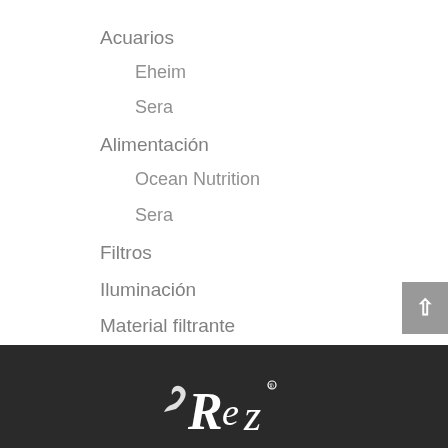Acuarios
Eheim
Sera
Alimentación
Ocean Nutrition
Sera
Filtros
Iluminación
Material filtrante
Tratamiento de aguas de acuario
[Figure (logo): Website logo in white on dark background, partial letters visible spelling 'Rez' or similar brand name]